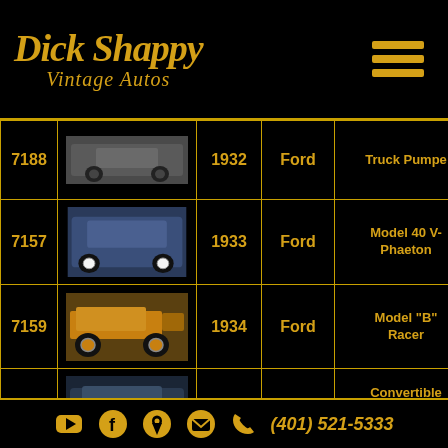Dick Shappy Vintage Autos
| ID | Image | Year | Make | Model |
| --- | --- | --- | --- | --- |
| 7188 | [car image] | 1932 | Ford | Truck Pumper |
| 7157 | [car image] | 1933 | Ford | Model 40 V- Phaeton |
| 7159 | [car image] | 1934 | Ford | Model "B" Racer |
| 7161 | [car image] | 1940 | Ford | Convertible Coupe Deluxe |
(401) 521-5333